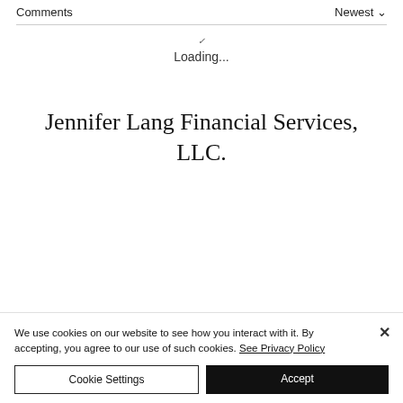Comments   Newest
Loading...
Jennifer Lang Financial Services, LLC.
We use cookies on our website to see how you interact with it. By accepting, you agree to our use of such cookies. See Privacy Policy
Cookie Settings   Accept